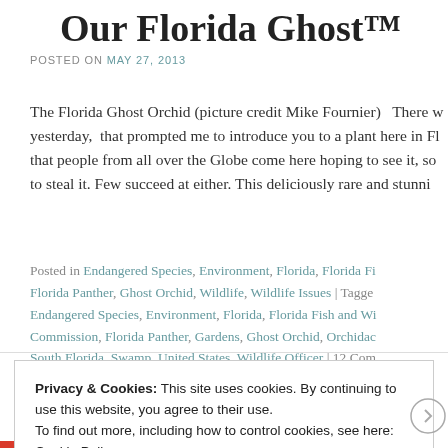Our Florida Ghost™
POSTED ON MAY 27, 2013
The Florida Ghost Orchid (picture credit Mike Fournier)   There w... yesterday,  that prompted me to introduce you to a plant here in Fl... that people from all over the Globe come here hoping to see it, so... to steal it. Few succeed at either. This deliciously rare and stunni...
Posted in Endangered Species, Environment, Florida, Florida Fi... Florida Panther, Ghost Orchid, Wildlife, Wildlife Issues | Tagge... Endangered Species, Environment, Florida, Florida Fish and Wi... Commission, Florida Panther, Gardens, Ghost Orchid, Orchidac... South Florida, Swamp, United States, Wildlife Officer | 12 Com...
Privacy & Cookies: This site uses cookies. By continuing to use this website, you agree to their use.
To find out more, including how to control cookies, see here: Cookie Policy
[Close and accept]